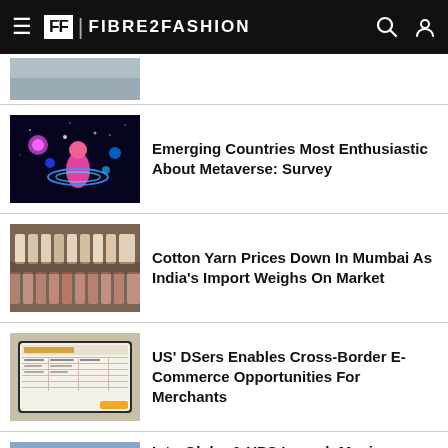FIBRE2FASHION
[Figure (photo): Partial thumbnail of article image at top]
Emerging Countries Most Enthusiastic About Metaverse: Survey
[Figure (photo): Metaverse themed graphic - character with glowing neon elements on dark background]
Cotton Yarn Prices Down In Mumbai As India’s Import Weighs On Market
[Figure (photo): Cotton yarn spools/bobbins in a textile factory]
US’ DSers Enables Cross-Border E-Commerce Opportunities For Merchants
[Figure (screenshot): Screenshot of DSers e-commerce platform on a tablet or laptop screen]
InterGlobe & UPS Launch Movin Logistics Brand In India
[Figure (photo): India Gate monument in New Delhi]